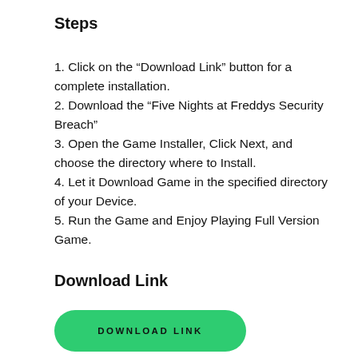Steps
1. Click on the “Download Link” button for a complete installation.
2. Download the “Five Nights at Freddys Security Breach”
3. Open the Game Installer, Click Next, and choose the directory where to Install.
4. Let it Download Game in the specified directory of your Device.
5. Run the Game and Enjoy Playing Full Version Game.
Download Link
[Figure (other): Green rounded button labeled DOWNLOAD LINK]